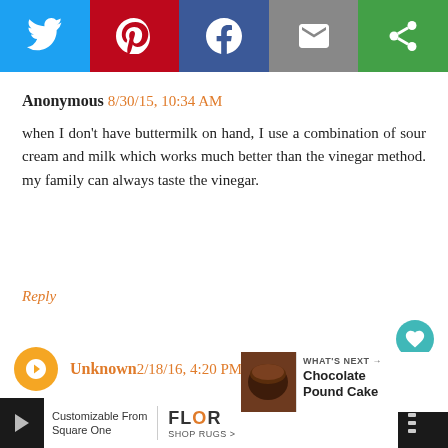[Figure (screenshot): Social media share bar with Twitter (blue), Pinterest (red), Facebook (dark blue), Email (gray), and another share option (green) buttons]
Anonymous 8/30/15, 10:34 AM
when I don't have buttermilk on hand, I use a combination of sour cream and milk which works much better than the vinegar method. my family can always taste the vinegar.
Reply
Unknown 2/18/16, 4:20 PM
I love this recipe. I have made this c... Only change I made was I used 2-c... with 1-cup of Cake flour. Great Texture!
[Figure (infographic): What's Next callout showing Chocolate Pound Cake with thumbnail image]
[Figure (screenshot): Advertisement bar for FLOR Shop Rugs - Customizable From Square One]